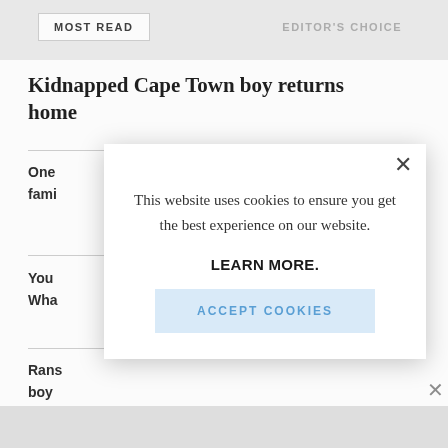MOST READ    EDITOR'S CHOICE
Kidnapped Cape Town boy returns home
One
fami
You
Wha
Rans
boy
[Figure (screenshot): Cookie consent modal dialog overlaying a news article page. The modal contains text 'This website uses cookies to ensure you get the best experience on our website.' followed by 'LEARN MORE.' and an 'ACCEPT COOKIES' button. A close (X) button is in the top right corner of the modal.]